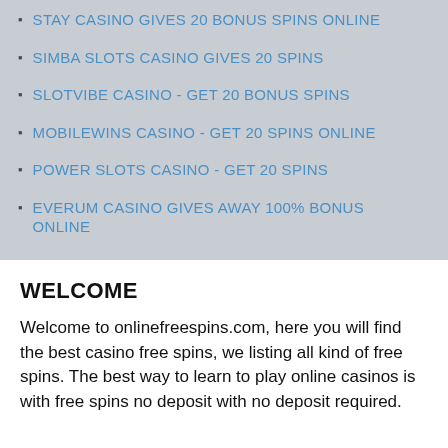STAY CASINO GIVES 20 BONUS SPINS ONLINE
SIMBA SLOTS CASINO GIVES 20 SPINS
SLOTVIBE CASINO - GET 20 BONUS SPINS
MOBILEWINS CASINO - GET 20 SPINS ONLINE
POWER SLOTS CASINO - GET 20 SPINS
EVERUM CASINO GIVES AWAY 100% BONUS ONLINE
WELCOME
Welcome to onlinefreespins.com, here you will find the best casino free spins, we listing all kind of free spins. The best way to learn to play online casinos is with free spins no deposit with no deposit required.